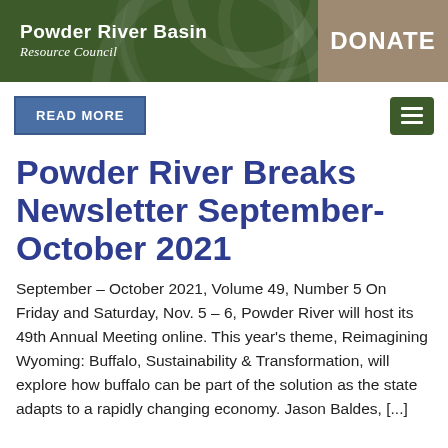Powder River Basin Resource Council | DONATE
READ MORE
Powder River Breaks Newsletter September-October 2021
September – October 2021, Volume 49, Number 5 On Friday and Saturday, Nov. 5 – 6, Powder River will host its 49th Annual Meeting online. This year's theme, Reimagining Wyoming: Buffalo, Sustainability & Transformation, will explore how buffalo can be part of the solution as the state adapts to a rapidly changing economy. Jason Baldes, [...]